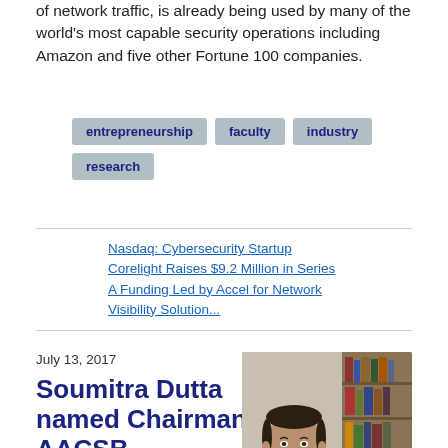of network traffic, is already being used by many of the world's most capable security operations including Amazon and five other Fortune 100 companies.
entrepreneurship
faculty
industry
research
Nasdaq: Cybersecurity Startup Corelight Raises $9.2 Million in Series A Funding Led by Accel for Network Visibility Solution...
July 13, 2017
Soumitra Dutta named Chairman of AACSB International
[Figure (photo): Portrait photo of Soumitra Dutta, a man in a light shirt and red tie, smiling, in front of bookshelves]